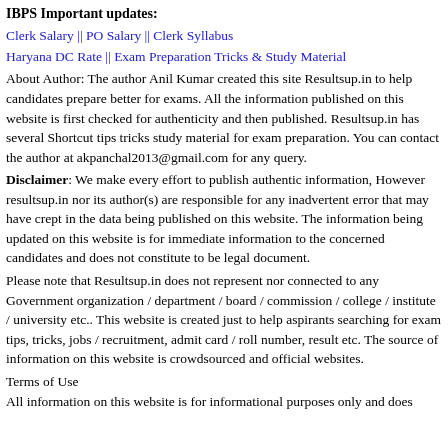IBPS Important updates:
Clerk Salary || PO Salary || Clerk Syllabus
Haryana DC Rate || Exam Preparation Tricks & Study Material
About Author: The author Anil Kumar created this site Resultsup.in to help candidates prepare better for exams. All the information published on this website is first checked for authenticity and then published. Resultsup.in has several Shortcut tips tricks study material for exam preparation. You can contact the author at akpanchal2013@gmail.com for any query.
Disclaimer: We make every effort to publish authentic information, However resultsup.in nor its author(s) are responsible for any inadvertent error that may have crept in the data being published on this website. The information being updated on this website is for immediate information to the concerned candidates and does not constitute to be legal document.
Please note that Resultsup.in does not represent nor connected to any Government organization / department / board / commission / college / institute / university etc.. This website is created just to help aspirants searching for exam tips, tricks, jobs / recruitment, admit card / roll number, result etc. The source of information on this website is crowdsourced and official websites.
Terms of Use
All information on this website is for informational purposes only and does